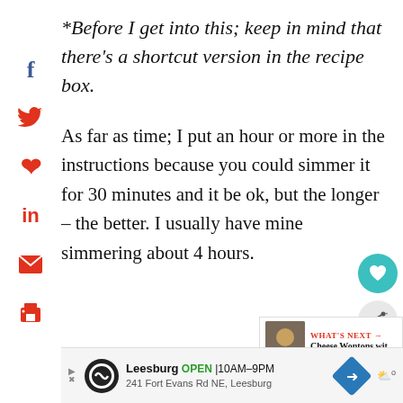*Before I get into this; keep in mind that there’s a shortcut version in the recipe box.
As far as time; I put an hour or more in the instructions because you could simmer it for 30 minutes and it be ok, but the longer – the better. I usually have mine simmering about 4 hours.
[Figure (other): Advertisement banner: Leesburg store, OPEN 10AM-9PM, 241 Fort Evans Rd NE Leesburg]